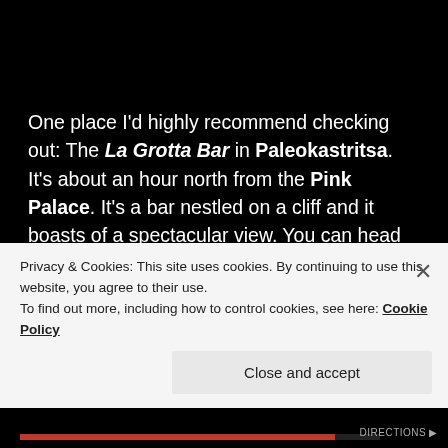One place I'd highly recommend checking out: The La Grotta Bar in Paleokastritsa. It's about an hour north from the Pink Palace. It's a bar nestled on a cliff and it boasts of a spectacular view. You can head down to the water where there's a spot for cliff jumping. There were good vibes all around so everyone was having so much fun. We could have easily stayed at this place all day. It's free to just hang out by the water, but it wouldn't hurt to order a drink or two as a token of gratitude for the people running such a
Privacy & Cookies: This site uses cookies. By continuing to use this website, you agree to their use.
To find out more, including how to control cookies, see here: Cookie Policy
Close and accept